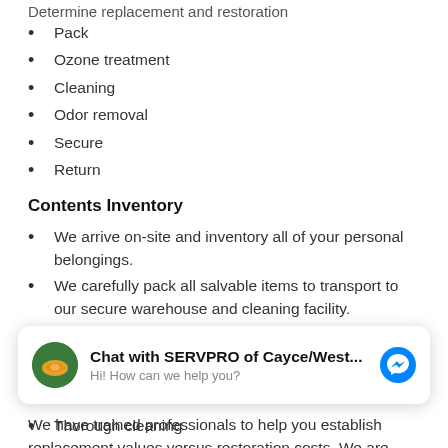Pack
Ozone treatment
Cleaning
Odor removal
Secure
Return
Contents Inventory
We arrive on-site and inventory all of your personal belongings.
We carefully pack all salvable items to transport to our secure warehouse and cleaning facility.
Unsalvageable contents are inventoried and discarded.
Contents Valuation
We have trained professionals to help you establish replacement values versus restoration costs. We are also
Thorough cleaning